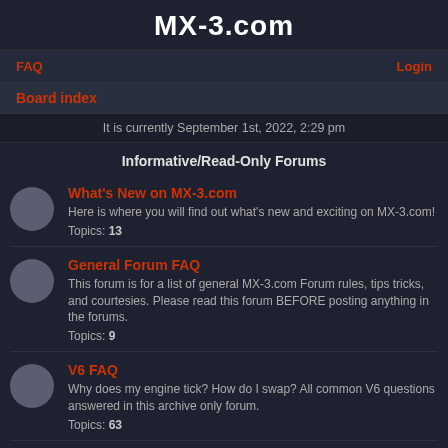MX-3.com
FAQ   Login
Board index
It is currently September 1st, 2022, 2:29 pm
Informative/Read-Only Forums
What's New on MX-3.com
Here is where you will find out what's new and exciting on MX-3.com!
Topics: 13
General Forum FAQ
This forum is for a list of general MX-3.com Forum rules, tips tricks, and courtesies. Please read this forum BEFORE posting anything in the forums.
Topics: 9
V6 FAQ
Why does my engine tick? How do I swap? All common V6 questions answered in this archive only forum.
Topics: 63
4-Cyl. FAQ
What's the best intake? How do I swap a BPT? All common 4cyl questions are answered in this archive only forum.
Topics: 34